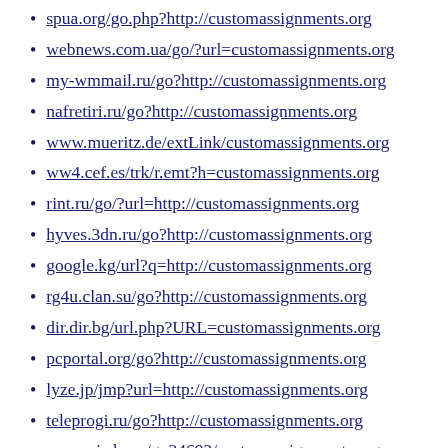spua.org/go.php?http://customassignments.org
webnews.com.ua/go/?url=customassignments.org
my-wmmail.ru/go?http://customassignments.org
nafretiri.ru/go?http://customassignments.org
www.mueritz.de/extLink/customassignments.org
ww4.cef.es/trk/r.emt?h=customassignments.org
rint.ru/go/?url=http://customassignments.org
hyves.3dn.ru/go?http://customassignments.org
google.kg/url?q=http://customassignments.org
rg4u.clan.su/go?http://customassignments.org
dir.dir.bg/url.php?URL=customassignments.org
pcportal.org/go?http://customassignments.org
lyze.jp/jmp?url=http://customassignments.org
teleprogi.ru/go?http://customassignments.org
my.squirrly.co/go34692/customassignments.org
google.dz/url?q=http://customassignments.org
google.gy/url?q=http://customassignments.org
google.md/url?q=http://customassignments.org
sunfm.com.ua/go?http://customassignments.org